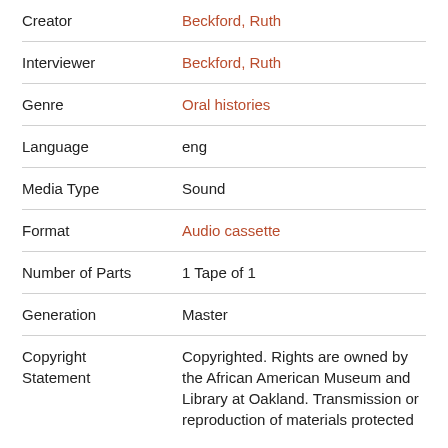| Field | Value |
| --- | --- |
| Creator | Beckford, Ruth |
| Interviewer | Beckford, Ruth |
| Genre | Oral histories |
| Language | eng |
| Media Type | Sound |
| Format | Audio cassette |
| Number of Parts | 1 Tape of 1 |
| Generation | Master |
| Copyright Statement | Copyrighted. Rights are owned by the African American Museum and Library at Oakland. Transmission or reproduction of materials protected |